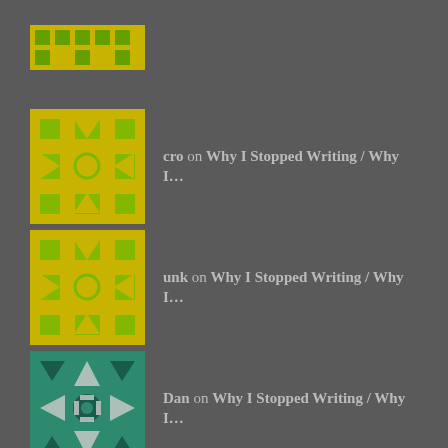cro on Why I Stopped Writing / Why I…
unk on Why I Stopped Writing / Why I…
Dan on Why I Stopped Writing / Why I…
Tammi on Why I Stopped Writing / Why I…
Archives
March 2022
February 2022
April 2020
February 2017
November 2016
October 2016
September 2016
June 2016
May 2016
April 2016